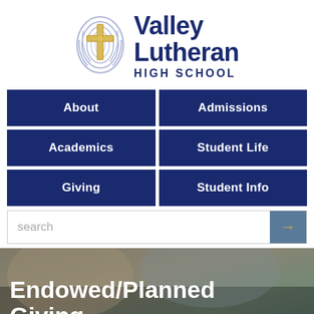[Figure (logo): Valley Lutheran High School logo with fingerprint/cross icon and bold navy blue text]
About
Admissions
Academics
Student Life
Giving
Student Info
search
Endowed/Planned Giving